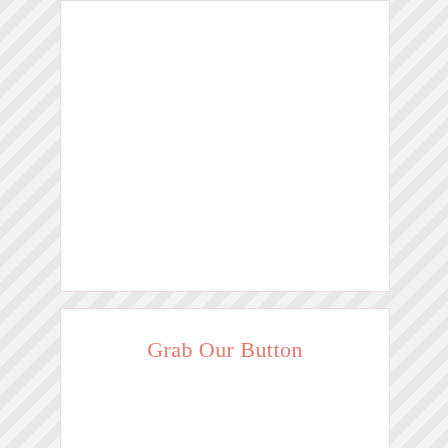[Figure (other): Empty white card/panel with light border, top section]
Grab Our Button
[Figure (illustration): Circular logo illustration with pink border showing a nail polish bottle icon, partially visible at bottom of page]